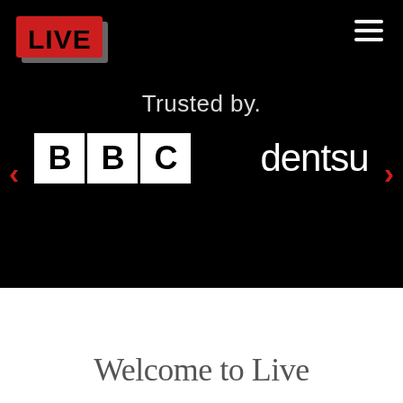[Figure (logo): LIVE logo in red rectangle with black text, slight 3D perspective effect]
[Figure (illustration): Hamburger menu icon (three horizontal white lines) in top right corner]
Trusted by.
[Figure (logo): BBC logo: three white squares each containing a black letter B, B, C]
[Figure (logo): dentsu logo in white lowercase letters]
< (left carousel arrow in red)
> (right carousel arrow in red)
Welcome to Live